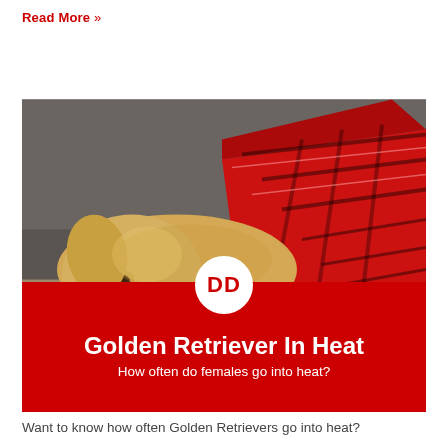Read More »
[Figure (photo): A golden retriever dog lying on the floor with a red plaid blanket draped over its back, with a DD logo circle overlaid at the bottom center, and a red banner below reading 'Golden Retriever In Heat — How often do females go into heat?']
Want to know how often Golden Retrievers go into heat?